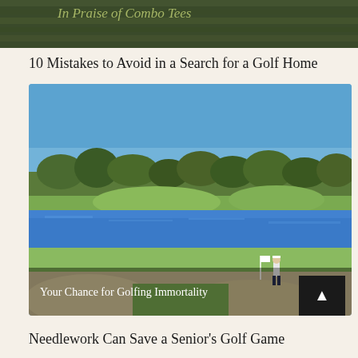[Figure (photo): Partial view of a golf course green banner image with text 'In Praise of Combo Tees' overlaid on grass background]
10 Mistakes to Avoid in a Search for a Golf Home
[Figure (photo): Golf course photo showing a fairway with sand bunkers in foreground, a water hazard/pond in the middle, green fairway beyond, trees in background under a clear blue sky, with a golfer walking near the flag. Text overlay reads 'Your Chance for Golfing Immortality']
Needlework Can Save a Senior's Golf Game